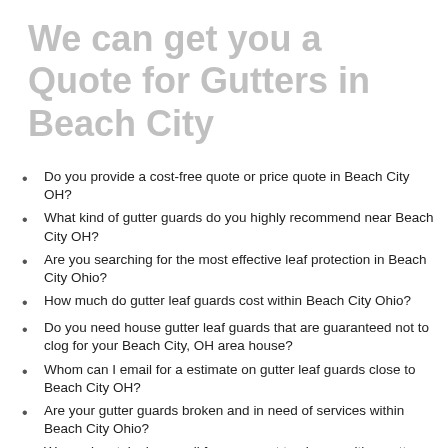We can get you a Quote for Gutters in Beach City
Do you provide a cost-free quote or price quote in Beach City OH?
What kind of gutter guards do you highly recommend near Beach City OH?
Are you searching for the most effective leaf protection in Beach City Ohio?
How much do gutter leaf guards cost within Beach City Ohio?
Do you need house gutter leaf guards that are guaranteed not to clog for your Beach City, OH area house?
Whom can I email for a estimate on gutter leaf guards close to Beach City OH?
Are your gutter guards broken and in need of services within Beach City Ohio?
We made a telephone call for an expert to give us with a gutter leaf guards quote in Beach City Ohio, why are there sales prices so high?
Exactly what is the price per foot for gutter leaf guards?